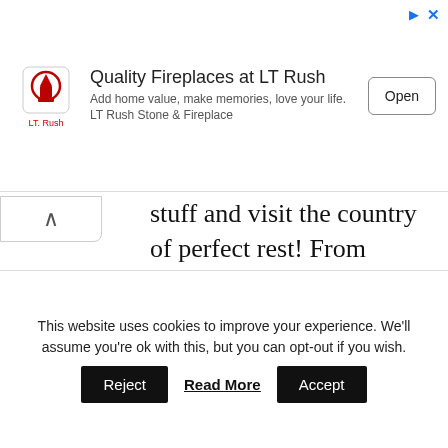[Figure (other): LT Rush advertisement banner with logo, headline 'Quality Fireplaces at LT Rush', subtext 'Add home value, make memories, love your life. LT Rush Stone & Fireplace', and an Open button]
stuff and visit the country of perfect rest! From shopping and skiing to snorkeling and sightseeing, there are so many things to do in Andorra that your stay in this tiny, cozy land will be one of the most amazing experiences you've had in your
This website uses cookies to improve your experience. We'll assume you're ok with this, but you can opt-out if you wish.
Reject   Read More   Accept